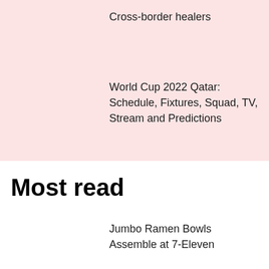Cross-border healers
World Cup 2022 Qatar: Schedule, Fixtures, Squad, TV, Stream and Predictions
Most read
Jumbo Ramen Bowls Assemble at 7-Eleven